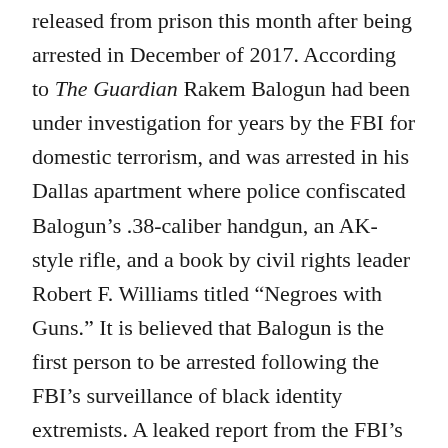released from prison this month after being arrested in December of 2017. According to The Guardian Rakem Balogun had been under investigation for years by the FBI for domestic terrorism, and was arrested in his Dallas apartment where police confiscated Balogun's .38-caliber handgun, an AK-style rifle, and a book by civil rights leader Robert F. Williams titled “Negroes with Guns.” It is believed that Balogun is the first person to be arrested following the FBI’s surveillance of black identity extremists. A leaked report from the FBI’s Domestic Terrorism Analysis Unit has revealed that FBI officials believed that there has been a “resurgence in ideologically motivated, violent criminal activity,” which has stemmed from “perceptions of police brutality” by African-Americans. In addition to